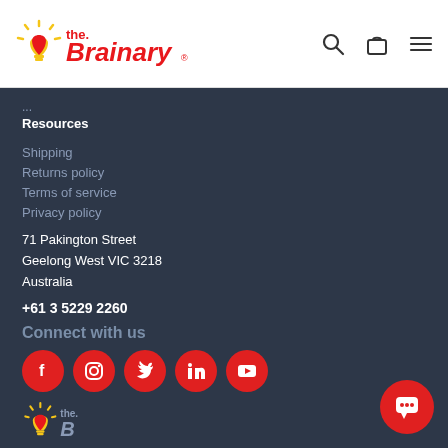The Brainary - logo, search, bag, menu icons
Resources
Shipping
Returns policy
Terms of service
Privacy policy
71 Pakington Street
Geelong West VIC 3218
Australia
+61 3 5229 2260
Connect with us
[Figure (infographic): Row of five red circular social media icons: Facebook, Instagram, Twitter, LinkedIn, YouTube]
[Figure (logo): The Brainary logo (partial, bottom of page)]
[Figure (infographic): Red circle chat bubble button in bottom right corner]